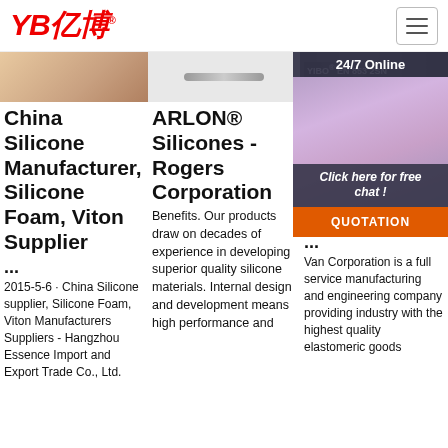[Figure (logo): YB亿博 logo in red italic bold text with registered trademark symbol]
[Figure (photo): Navigation hamburger menu icon in a bordered box]
[Figure (photo): Image strip: skin/product photo on left, center bar, YIBO EN 853 2SN hose on right]
[Figure (photo): 24/7 Online chat panel with woman wearing headset, Click here for free chat button, and QUOTATION orange button]
China Silicone Manufacturer, Silicone Foam, Viton Supplier
...
2015-5-6 · China Silicone supplier, Silicone Foam, Viton Manufacturers Suppliers - Hangzhou Essence Import and Export Trade Co., Ltd.
ARLON® Silicones - Rogers Corporation
Benefits. Our products draw on decades of experience in developing superior quality silicone materials. Internal design and development means high performance and
Sil Tu Cu Ga Ma
...
Van Corporation is a full service manufacturing and engineering company providing industry with the highest quality elastomeric goods